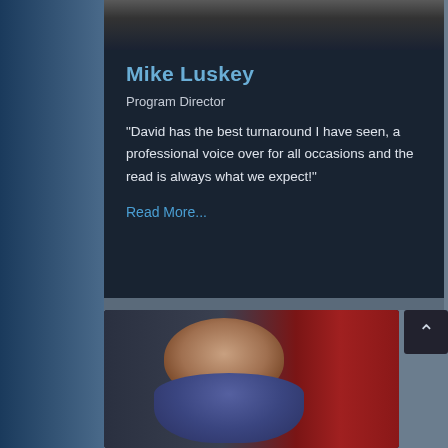[Figure (photo): Grayscale photo of Mike Luskey at the top of the upper card]
Mike Luskey
Program Director
“David has the best turnaround I have seen, a professional voice over for all occasions and the read is always what we expect!”
Read More...
[Figure (photo): Color photo of a smiling man in a blue shirt, seated in front of a red bookshelf background, in a TV studio setting]